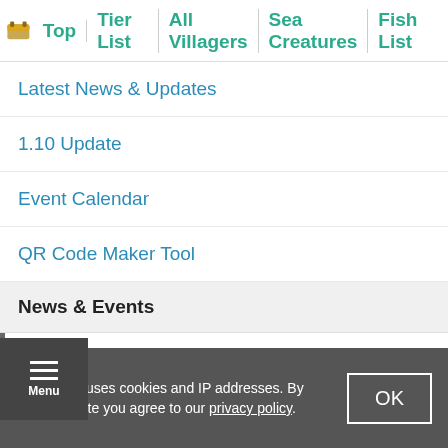Top | Tier List | All Villagers | Sea Creatures | Fish List
Latest News & Updates
1.10 Update
Event Calendar
QR Code Maker Tool
News & Events
Sanrio Collaboration
Sanrio Collab Info
Sanrio Clothes
GameWith uses cookies and IP addresses. By using our site you agree to our privacy policy.